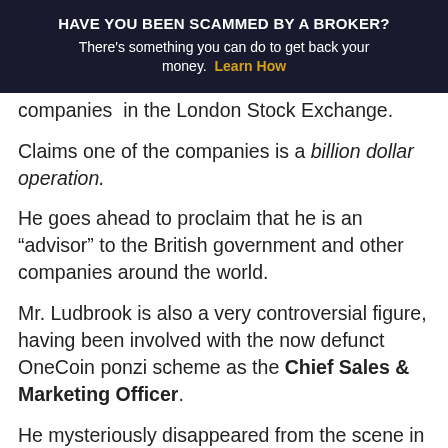HAVE YOU BEEN SCAMMED BY A BROKER? There's something you can do to get back your money. Learn How
companies in the London Stock Exchange.
Claims one of the companies is a billion dollar operation.
He goes ahead to proclaim that he is an “advisor” to the British government and other companies around the world.
Mr. Ludbrook is also a very controversial figure, having been involved with the now defunct OneCoin ponzi scheme as the Chief Sales & Marketing Officer.
He mysteriously disappeared from the scene in